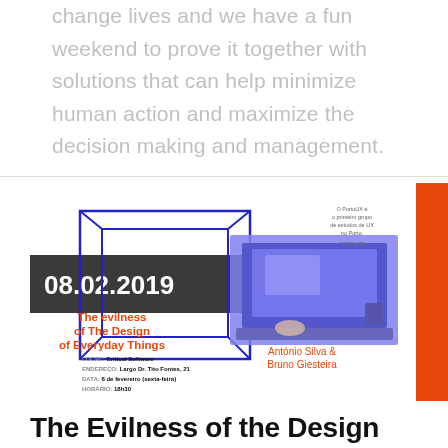change lives and we have a fun weekend to prove it together with solutions that can help minimize human action and maximize the decision making and management.
[Figure (infographic): Event poster for PortoUX meetup dated 08.02.2019. Title 'The evilness of The Design of Everyday Things'. Speakers: António Silva & Bruno Giesteira. Location: Critical Software, Largo Dr. Tito Fontes, 21. Date: 8 de fevereiro (sexta-feira). Time: 18h30. Blue geometric wireframe box design with photo of laptop. Orange right sidebar. Small text: 'O PortoUX é o primeiro grupo de estudos de UX no Porto. portlax.org']
The Evilness of the Design